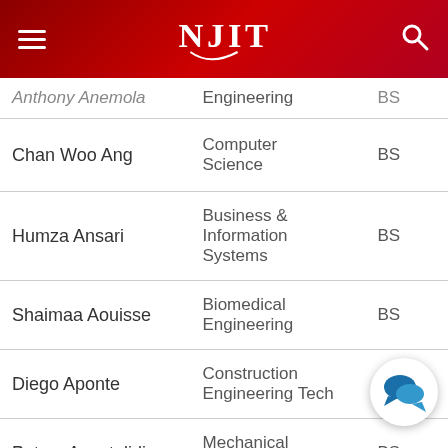NJIT
| Name | Program | Degree |
| --- | --- | --- |
| Anthony Anemola | Engineering | BS |
| Chan Woo Ang | Computer Science | BS |
| Humza Ansari | Business & Information Systems | BS |
| Shaimaa Aouisse | Biomedical Engineering | BS |
| Diego Aponte | Construction Engineering Tech | CET |
| Petros Apostolidis | Mechanical Engineering | BS |